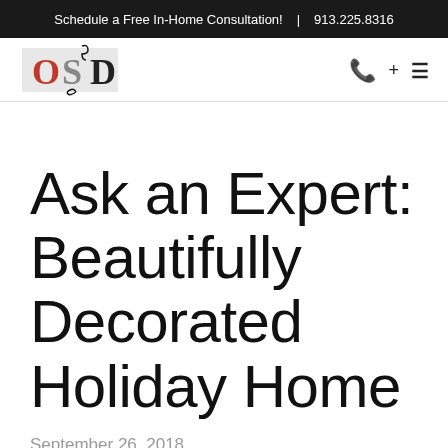Schedule a Free In-Home Consultation!  |  913.225.8316
[Figure (logo): OSD interior design logo with stylized O, S, D letters in red and grey]
Ask an Expert: Beautifully Decorated Holiday Home
September 26, 2018